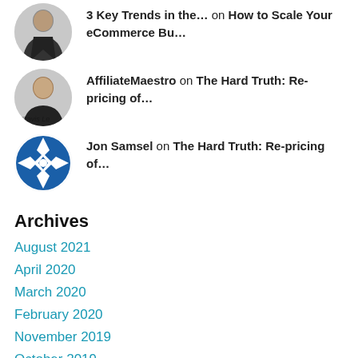3 Key Trends in the... on How to Scale Your eCommerce Bu...
AffiliateMaestro on The Hard Truth: Re-pricing of...
Jon Samsel on The Hard Truth: Re-pricing of...
Archives
August 2021
April 2020
March 2020
February 2020
November 2019
October 2019